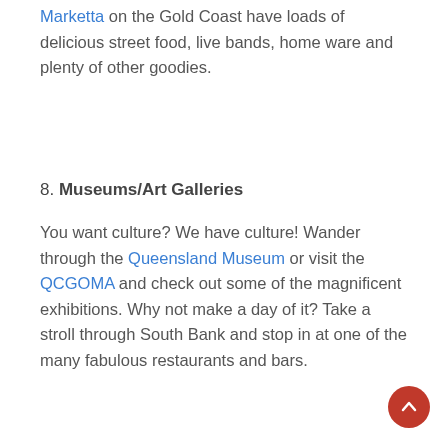Marketta on the Gold Coast have loads of delicious street food, live bands, home ware and plenty of other goodies.
8. Museums/Art Galleries
You want culture? We have culture! Wander through the Queensland Museum or visit the QCGOMA and check out some of the magnificent exhibitions. Why not make a day of it? Take a stroll through South Bank and stop in at one of the many fabulous restaurants and bars.